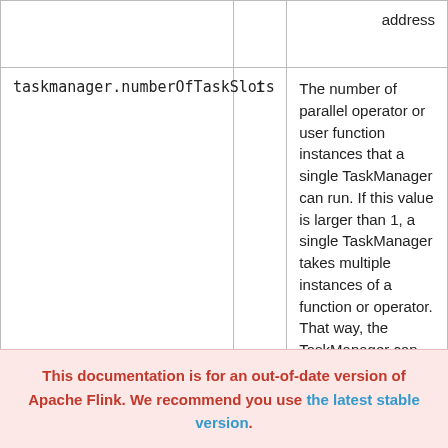| Key | Default | Description |
| --- | --- | --- |
|  | address |  |
| taskmanager.numberOfTaskSlots | 1 | The number of parallel operator or user function instances that a single TaskManager can run. If this value is larger than 1, a single TaskManager takes multiple instances of a function or operator. That way, the TaskManager can utilize multiple CPU cores, but at the same time, the |
This documentation is for an out-of-date version of Apache Flink. We recommend you use the latest stable version.